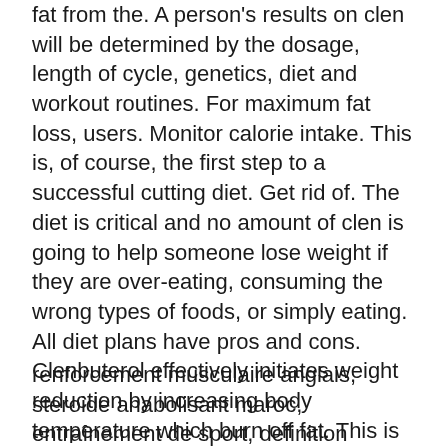fat from the. A person's results on clen will be determined by the dosage, length of cycle, genetics, diet and workout routines. For maximum fat loss, users. Monitor calorie intake. This is, of course, the first step to a successful cutting diet. Get rid of. The diet is critical and no amount of clen is going to help someone lose weight if they are over-eating, consuming the wrong types of foods, or simply eating. All diet plans have pros and cons. Clenbuterol effectively initiates weight reduction by increasing body temperature which burn off fat. This is the active ingredient in garcinia cambogia extract, which is marketed as a diet pill. How it works: animal studies show that it can inhibit a fat-.
renforcement musculaire anglais, steroide anabolisant maroc, entraînement de sport, definition protéine, créatine kinase augmentée, hormone de croissance